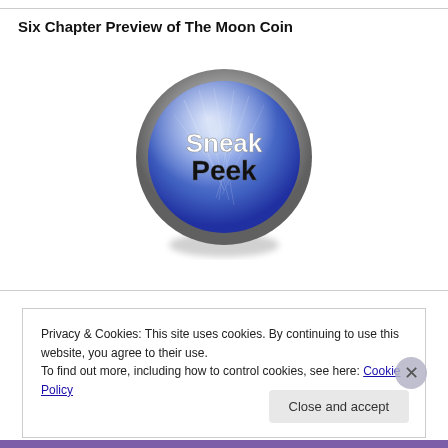Six Chapter Preview of The Moon Coin
[Figure (illustration): A shiny blue button with metallic silver border and shadow, featuring the text 'Sneak Peek' in white/black lettering]
Privacy & Cookies: This site uses cookies. By continuing to use this website, you agree to their use.
To find out more, including how to control cookies, see here: Cookie Policy
Close and accept